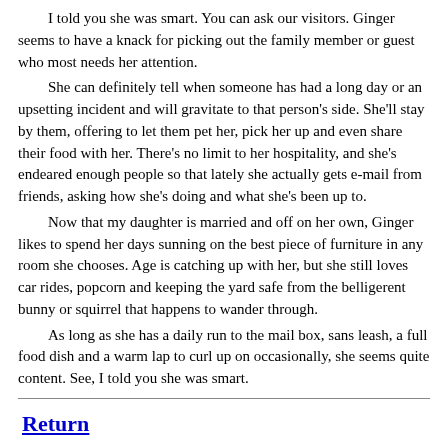I told you she was smart. You can ask our visitors. Ginger seems to have a knack for picking out the family member or guest who most needs her attention.
    She can definitely tell when someone has had a long day or an upsetting incident and will gravitate to that person's side. She'll stay by them, offering to let them pet her, pick her up and even share their food with her. There's no limit to her hospitality, and she's endeared enough people so that lately she actually gets e-mail from friends, asking how she's doing and what she's been up to.
    Now that my daughter is married and off on her own, Ginger likes to spend her days sunning on the best piece of furniture in any room she chooses. Age is catching up with her, but she still loves car rides, popcorn and keeping the yard safe from the belligerent bunny or squirrel that happens to wander through.
    As long as she has a daily run to the mail box, sans leash, a full food dish and a warm lap to curl up on occasionally, she seems quite content. See, I told you she was smart.
Return
Clarksburg Publishing Company, P.O. Box 2000, Clarksburg, WV 26302 USA
Copyright © Clarksburg Publishing Company 1999